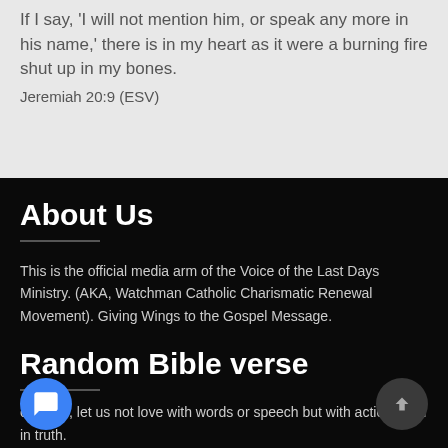If I say, 'I will not mention him, or speak any more in his name,' there is in my heart as it were a burning fire shut up in my bones.
Jeremiah 20:9 (ESV)
About Us
This is the official media arm of the Voice of the Last Days Ministry. (AKA, Watchman Catholic Charismatic Renewal Movement). Giving Wings to the Gospel Message.
Random Bible verse
children, let us not love with words or speech but with actions and in truth.